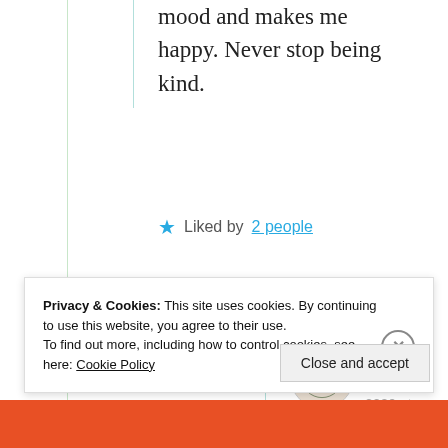mood and makes me happy. Never stop being kind.
★ Liked by 2 people
True Living
June 18, 2020 at 3:15 pm
Privacy & Cookies: This site uses cookies. By continuing to use this website, you agree to their use.
To find out more, including how to control cookies, see here: Cookie Policy
Close and accept